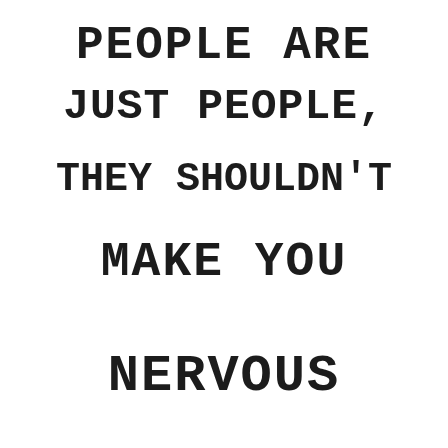[Figure (illustration): Handwritten-style text quote reading: 'PEOPLE ARE JUST PEOPLE, THEY SHOULDN'T MAKE YOU NERVOUS' in large hand-lettered block capitals on white background]